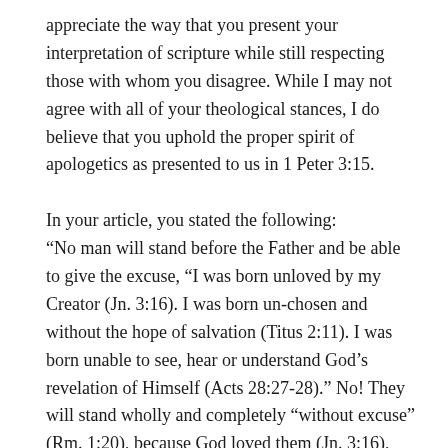appreciate the way that you present your interpretation of scripture while still respecting those with whom you disagree. While I may not agree with all of your theological stances, I do believe that you uphold the proper spirit of apologetics as presented to us in 1 Peter 3:15.

In your article, you stated the following:
“No man will stand before the Father and be able to give the excuse, “I was born unloved by my Creator (Jn. 3:16). I was born un-chosen and without the hope of salvation (Titus 2:11). I was born unable to see, hear or understand God’s revelation of Himself (Acts 28:27-28).” No! They will stand wholly and completely “without excuse” (Rm. 1:20), because God loved them (Jn. 3:16), called them to